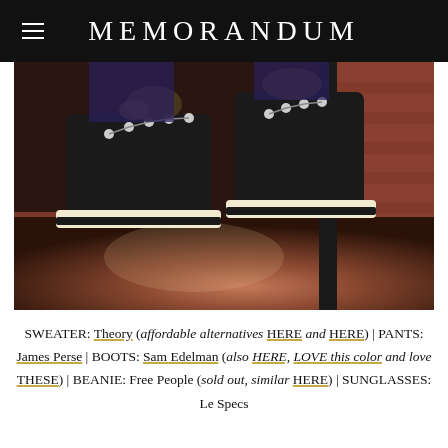MEMORANDUM
[Figure (photo): Close-up photo of black lace-up hiking boots with silver eyelets and fur pompom detail, shown against a red brick wall background. The boots have a cream/tan lug sole.]
SWEATER: Theory (affordable alternatives HERE and HERE) | PANTS: James Perse | BOOTS: Sam Edelman (also HERE, LOVE this color and love THESE) | BEANIE: Free People (sold out, similar HERE) | SUNGLASSES: Le Specs